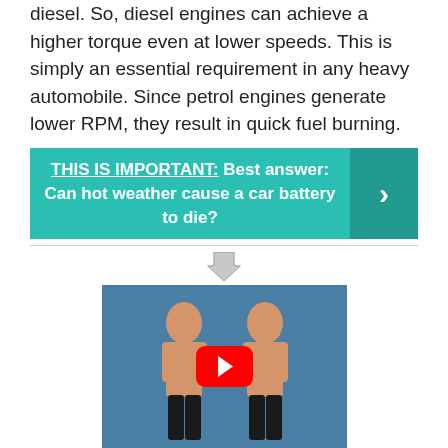diesel. So, diesel engines can achieve a higher torque even at lower speeds. This is simply an essential requirement in any heavy automobile. Since petrol engines generate lower RPM, they result in quick fuel burning.
THIS IS IMPORTANT: Best answer: Can hot weather cause a car battery to die?
[Figure (other): Down arrow icon followed by a YouTube video thumbnail showing two men side by side with a red YouTube play button overlay, on a blue background.]